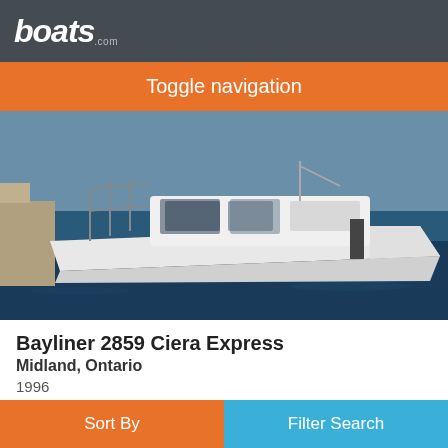boats.com
Toggle navigation
[Figure (photo): A white Bayliner 2859 Ciera Express motorboat moored at a dock on blue water]
Bayliner 2859 Ciera Express
Midland, Ontario
1996
$25,900
Seller Bayshore Yacht Sales
Sort By    Filter Search